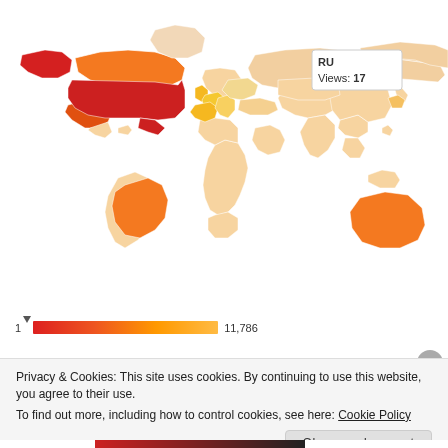[Figure (map): World map choropleth showing website views by country. USA shown in deep red/crimson (highest views ~11786), Canada and Alaska in orange-red, Brazil and Australia in orange, Russia tooltip shown with 'RU Views: 17', UK area in yellow, other countries in light peach/beige gradient. Tooltip box visible for Russia: 'RU Views: 17'.]
[Figure (infographic): Color scale legend bar from 1 to 11,786 showing gradient from red to orange to yellow, with a downward arrow marker at position 1.]
Privacy & Cookies: This site uses cookies. By continuing to use this website, you agree to their use.
To find out more, including how to control cookies, see here: Cookie Policy
Close and accept